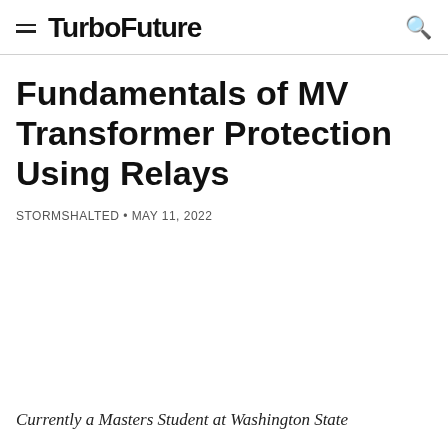TurboFuture
Fundamentals of MV Transformer Protection Using Relays
STORMSHALTED • MAY 11, 2022
Currently a Masters Student at Washington State